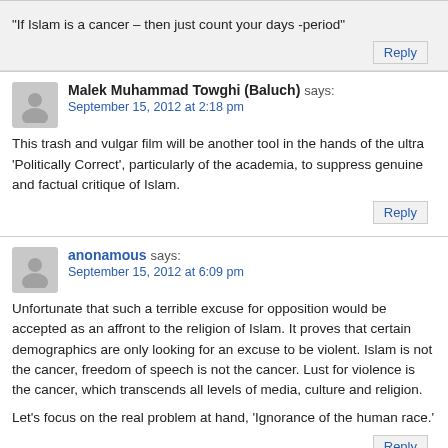"If Islam is a cancer – then just count your days -period"
Reply
Malek Muhammad Towghi (Baluch) says:
September 15, 2012 at 2:18 pm
This trash and vulgar film will be another tool in the hands of the ultra 'Politically Correct', particularly of the academia, to suppress genuine and factual critique of Islam.
Reply
anonamous says:
September 15, 2012 at 6:09 pm
Unfortunate that such a terrible excuse for opposition would be accepted as an affront to the religion of Islam. It proves that certain demographics are only looking for an excuse to be violent. Islam is not the cancer, freedom of speech is not the cancer. Lust for violence is the cancer, which transcends all levels of media, culture and religion.

Let's focus on the real problem at hand, 'Ignorance of the human race.'
Reply